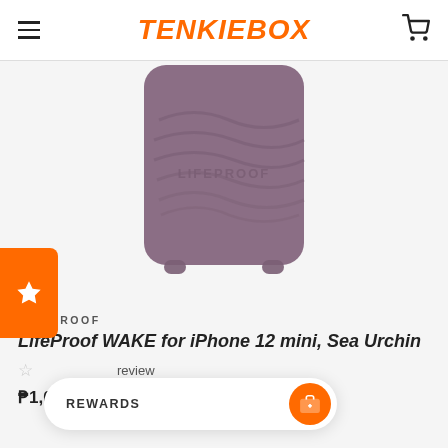TENKIEBOX
[Figure (photo): LifeProof WAKE phone case for iPhone 12 mini in Sea Urchin (purple/mauve color) showing the back of the case with wave-texture pattern and LIFEPROOF branding embossed]
LIFEPROOF
LifeProof WAKE for iPhone 12 mini, Sea Urchin
review
₱1,000.00  ₱1,681.58